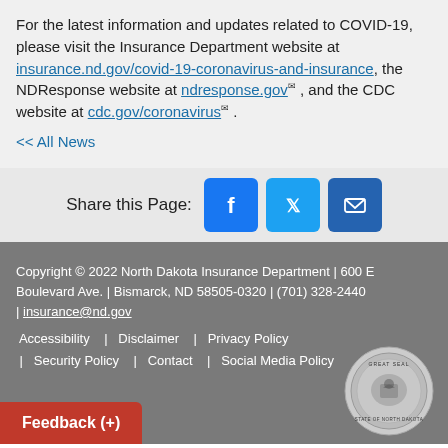For the latest information and updates related to COVID-19, please visit the Insurance Department website at insurance.nd.gov/covid-19-coronavirus-and-insurance, the NDResponse website at ndresponse.gov, and the CDC website at cdc.gov/coronavirus.
<< All News
Share this Page:
Copyright © 2022 North Dakota Insurance Department | 600 E Boulevard Ave. | Bismarck, ND 58505-0320 | (701) 328-2440 | insurance@nd.gov
Accessibility | Disclaimer | Privacy Policy | Security Policy | Contact | Social Media Policy